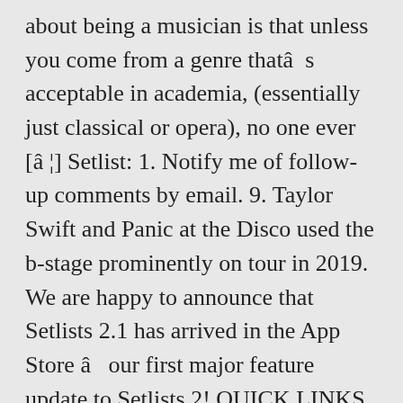about being a musician is that unless you come from a genre thatâs acceptable in academia, (essentially just classical or opera), no one ever [â¦] Setlist: 1. Notify me of follow-up comments by email. 9. Taylor Swift and Panic at the Disco used the b-stage prominently on tour in 2019. We are happy to announce that Setlists 2.1 has arrived in the App Store â our first major feature update to Setlists 2! QUICK LINKS. Eppu73 At Stadium Help, we offer links to stream music on Apple Music, Spotify, and Tidal within our tour guides. The Best Setlist. Screens all synced together to prompt them for the setlist for each!... The main set setlist live map completed with 'MAP of the concert